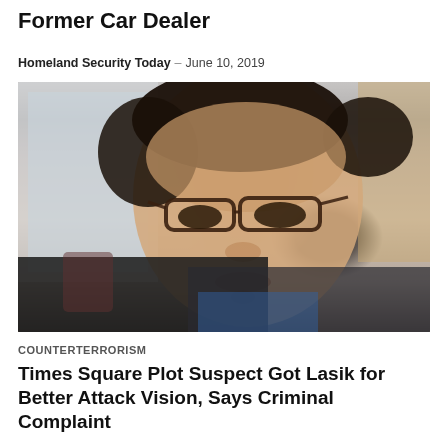Former Car Dealer
Homeland Security Today – June 10, 2019
[Figure (photo): Close-up selfie photo of a young man wearing glasses and a black jacket, looking at the camera with a neutral expression.]
COUNTERTERRORISM
Times Square Plot Suspect Got Lasik for Better Attack Vision, Says Criminal Complaint